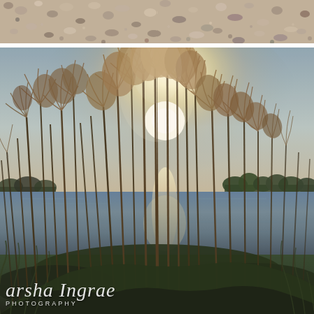[Figure (photo): Close-up photograph of gravel and small stones/pebbles on a beach or shoreline, shown at the top of the page as a narrow horizontal strip.]
[Figure (photo): Photograph of tall reeds/pampas grass silhouetted against a backlit sunset sky over a lake or river. The sun is visible through the grasses creating a glowing halo effect. Trees are visible on the far shore. A watermark reading 'arsha Ingrao PHOTOGRAPHY' appears in white script in the lower left corner.]